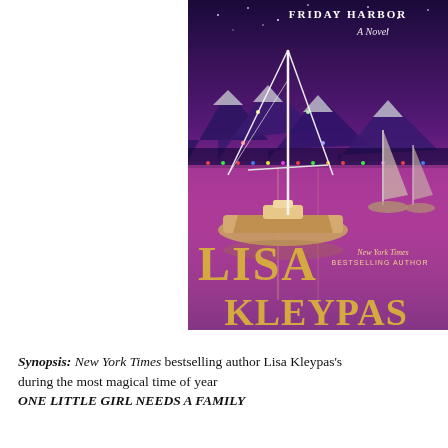[Figure (illustration): Book cover for a novel set in Friday Harbor. Shows a sailboat decorated with Christmas lights on a purple-hued harbor at night, with snow-capped mountains in the background. Text reads 'FRIDAY HARBOR A Novel' at the top, 'LISA' and 'KLEYPAS' in large gold letters at the bottom, with 'New York Times BESTSELLING AUTHOR' in script/caps.]
Synopsis: New York Times bestselling author Lisa Kleypas's during the most magical time of year ONE LITTLE GIRL NEEDS A FAMILY